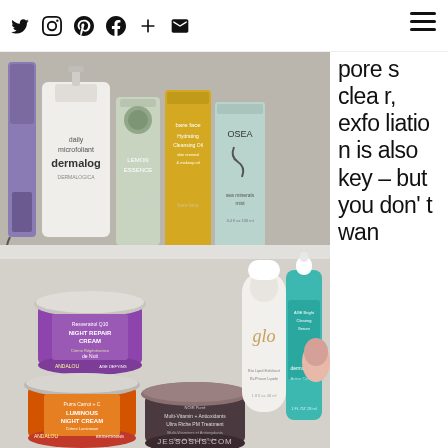Social media icons (Twitter, Instagram, Pinterest, Facebook, Plus, Email) and hamburger menu
[Figure (photo): Two shelves of skincare products. Top shelf: purple hair tool, Dermalogica daily microfoliant, green toner bottle, bare face Hydrating Cleansing Oil, OSEA sea minerals mist. Bottom shelf: Andalou Night Repair Cream (purple jar), Andalou Luminous Night Cream (orange jar), dark jar of Multi-Vitamin + Antioxidants Ultra Riche PM Treatment, glo bottle, Dermalogica Age Bright Clearing Serum. Watermark: JESSOSHS.COM]
pores clear, exfoliation is also key – but you don't wan